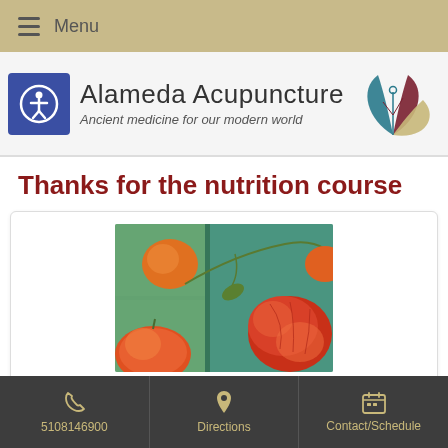Menu
[Figure (logo): Alameda Acupuncture logo with lotus/leaf design in teal, dark red, and tan colors. Brand name: Alameda Acupuncture. Tagline: Ancient medicine for our modern world.]
Thanks for the nutrition course
[Figure (photo): Close-up photo of colorful heirloom tomatoes on a green and teal background]
Hi, Dr. Nieters!
5108146900   Directions   Contact/Schedule